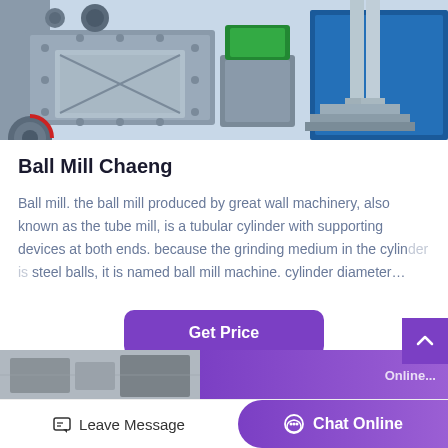[Figure (photo): Industrial machinery photograph showing heavy gray metal mill/crusher equipment with bolted plates, rollers, and support structures in an industrial setting with blue equipment in background]
Ball Mill Chaeng
Ball mill. the ball mill produced by great wall machinery, also known as the tube mill, is a tubular cylinder with supporting devices at both ends. because the grinding medium in the cylinder is steel balls, it is named ball mill machine. cylinder diameter…
[Figure (other): Get Price button - purple rounded rectangle button]
[Figure (photo): Partial thumbnail image at bottom of page showing industrial machinery, partially obscured]
Leave Message   Chat Online